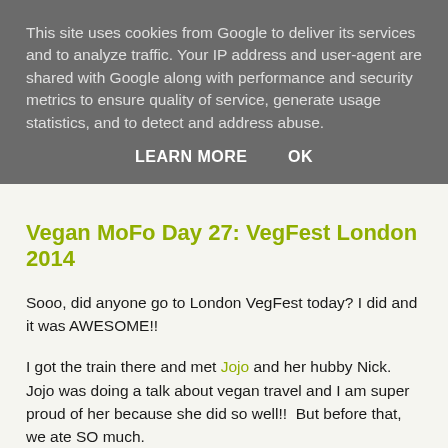This site uses cookies from Google to deliver its services and to analyze traffic. Your IP address and user-agent are shared with Google along with performance and security metrics to ensure quality of service, generate usage statistics, and to detect and address abuse.
LEARN MORE   OK
Vegan MoFo Day 27: VegFest London 2014
Sooo, did anyone go to London VegFest today? I did and it was AWESOME!!
I got the train there and met Jojo and her hubby Nick.  Jojo was doing a talk about vegan travel and I am super proud of her because she did so well!!  But before that, we ate SO much.
We started out healthily enough, with a juice from Soul Juices.  I got the 'detox' juice which was carrot, apple, ginger and maybe orange? I forget. The guy said to me, how much ginger? And I was like, go for it dude I like it HOT! and then he told me something, giving a load of ginger to someone...